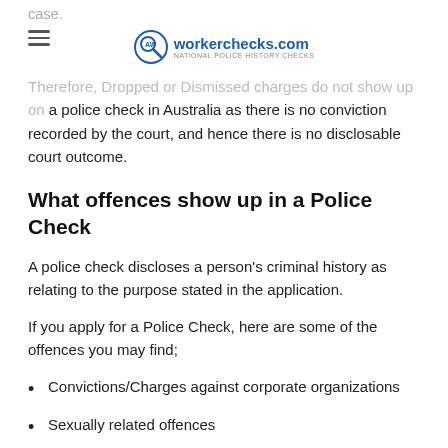case.
workerchecks.com
Therefore, Dropped or Dismissed charges do not show up on a police check in Australia as there is no conviction recorded by the court, and hence there is no disclosable court outcome.
What offences show up in a Police Check
A police check discloses a person's criminal history as relating to the purpose stated in the application.
If you apply for a Police Check, here are some of the offences you may find;
Convictions/Charges against corporate organizations
Sexually related offences
Traffic charges for which an individual is convicted in a court